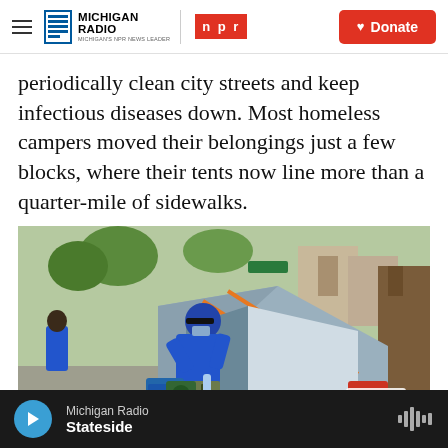Michigan Radio | NPR | Donate
periodically clean city streets and keep infectious diseases down. Most homeless campers moved their belongings just a few blocks, where their tents now line more than a quarter-mile of sidewalks.
[Figure (photo): A person in a blue hoodie and camouflage shorts bends over items next to a gray tent with orange straps on a sidewalk. A large tree is visible on the right side. Other tents are visible in the background.]
Michigan Radio — Stateside (audio player bar)